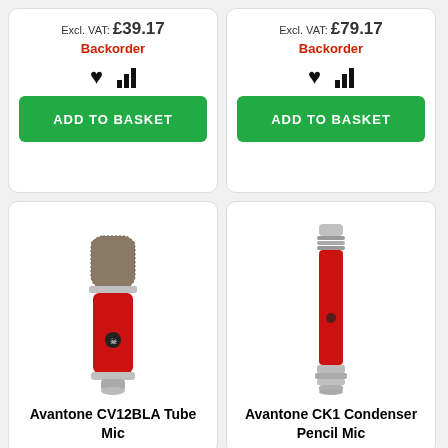Excl. VAT: £39.17
Backorder
ADD TO BASKET
Excl. VAT: £79.17
Backorder
ADD TO BASKET
[Figure (photo): Avantone CV12BLA Tube Mic - red condenser tube microphone]
Avantone CV12BLA Tube Mic
[Figure (photo): Avantone CK1 Condenser Pencil Mic - red pencil condenser microphone]
Avantone CK1 Condenser Pencil Mic